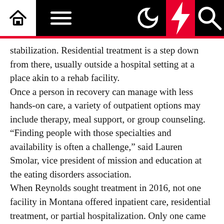Navigation bar with home, menu, dark mode, lightning, and search icons
stabilization. Residential treatment is a step down from there, usually outside a hospital setting at a place akin to a rehab facility.
Once a person in recovery can manage with less hands-on care, a variety of outpatient options may include therapy, meal support, or group counseling. “Finding people with those specialties and availability is often a challenge,” said Lauren Smolar, vice president of mission and education at the eating disorders association.
When Reynolds sought treatment in 2016, not one facility in Montana offered inpatient care, residential treatment, or partial hospitalization. Only one came close: the Eating Disorder Center of Montana, a treatment program based in Bozeman and